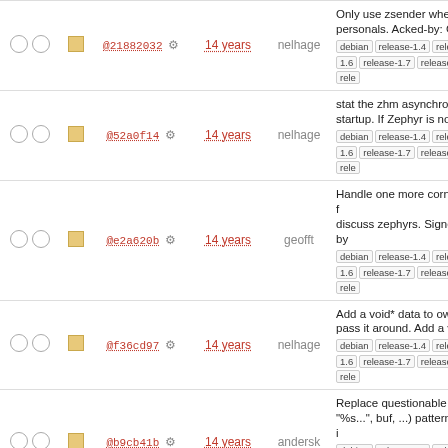| checks | status | hash | age | author | message |
| --- | --- | --- | --- | --- | --- |
| ○○ | ■ | @21882032 ⚙ | 14 years | nelhage | Only use zsender when not se... personals. Acked-by: Geoffrey | debian release-1.4 release-1.5 1.6 release-1.7 release-1.8 rele... |
| ○○ | ■ | @52a0f14 ⚙ | 14 years | nelhage | stat the zhm asynchronously a... startup. If Zephyr is not presen... | debian release-1.4 release-1.5 1.6 release-1.7 release-1.8 rele... |
| ○○ | ■ | @e2a620b ⚙ | 14 years | geofft | Handle one more corner case f... discuss zephyrs. Signed-off-by... | debian release-1.4 release-1.5 1.6 release-1.7 release-1.8 rele... |
| ○○ | ■ | @f36cd97 ⚙ | 14 years | nelhage | Add a void* data to owl_dispat... pass it around. Add a void* dat... | debian release-1.4 release-1.5 1.6 release-1.7 release-1.8 rele... |
| ○○ | ■ | @b9cb41b ⚙ | 14 years | andersk | Replace questionable sprintf(b... "%s...", buf, ...) pattern, which i... | debian release-1.4 release-1.5 1.6 release-1.7 release-1.8 rele... |
| ○○ | ■ | @451db9e ⚙ | 14 years | geofft | A bunch of spelling and gramm... fixes, some obvious, some ped... | debian release-1.4 release-1.5 1.6 release-1.7 release-1.8 rele... |
| ○○ | ■ | @ddacb9c ⚙ | 14 years | asedeno | Fix a segfault on retrieving zep... subs when the user doesn't ha... | debian release-1.4 release-1.5 1.6 release-1.7 release-1.8 rele... |
| ○○ | ■ | @02f55dc ⚙ | 14 years | nelhage | Clone ZhmStat() from the Zeph... source so we only hang for one second, ... | barnowl_perlaim debian release... |